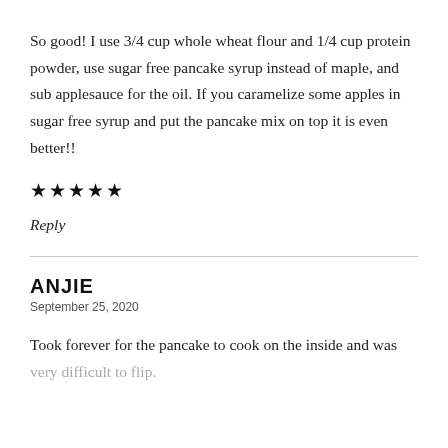So good! I use 3/4 cup whole wheat flour and 1/4 cup protein powder, use sugar free pancake syrup instead of maple, and sub applesauce for the oil. If you caramelize some apples in sugar free syrup and put the pancake mix on top it is even better!!
★★★★★
Reply
ANJIE
September 25, 2020
Took forever for the pancake to cook on the inside and was very difficult to flip.